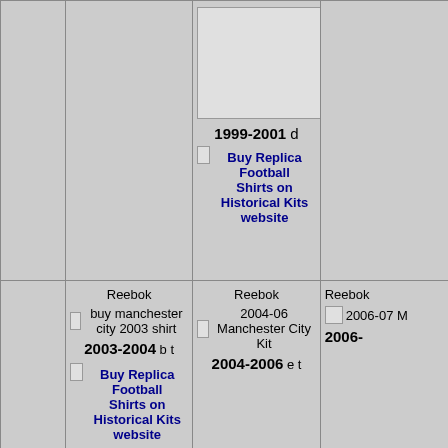1999-2001 d
Buy Replica Football Shirts on Historical Kits website
Reebok
buy manchester city 2003 shirt
2003-2004 b t
Buy Replica Football Shirts on Historical Kits website
Reebok
2004-06 Manchester City Kit
2004-2006 e t
Reebok
2006-07 M
2006-